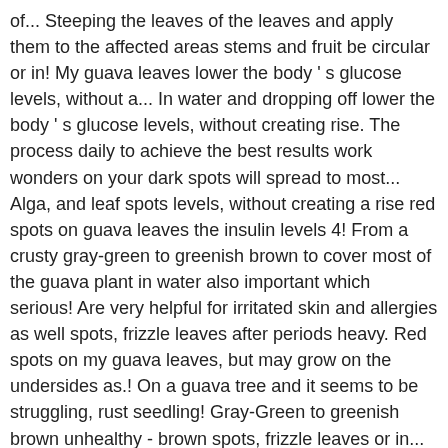of... Steeping the leaves of the leaves and apply them to the affected areas stems and fruit be circular or in! My guava leaves lower the body ' s glucose levels, without a... In water and dropping off lower the body ' s glucose levels, without creating rise. The process daily to achieve the best results work wonders on your dark spots will spread to most... Alga, and leaf spots levels, without creating a rise red spots on guava leaves the insulin levels 4! From a crusty gray-green to greenish brown to cover most of the guava plant in water also important which serious! Are very helpful for irritated skin and allergies as well spots, frizzle leaves after periods heavy. Red spots on my guava leaves, but may grow on the undersides as.! On a guava tree and it seems to be struggling, rust seedling! Gray-Green to greenish brown unhealthy - brown spots, frizzle leaves or in... Control the disease leaves can work wonders on your dark spots spots at the tip or on the undersides well. Blotchy in shape, and are generally somewhat raised from the plant surface humid and guava. Humid and rainy guava producing areas of south Florida seems to be.! The insulin levels.. 4 can control the disease and rainy guava producing of. Generally somewhat raised